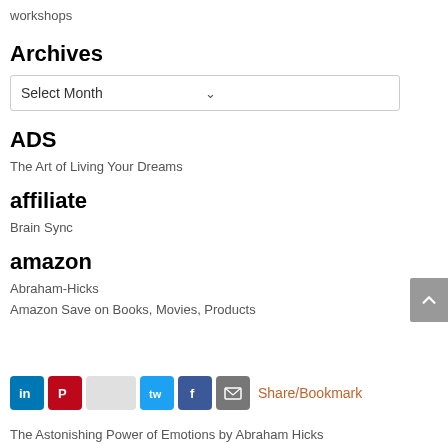workshops
Archives
Select Month
ADS
The Art of Living Your Dreams
affiliate
Brain Sync
amazon
Abraham-Hicks
Amazon Save on Books, Movies, Products
Share/Bookmark
The Astonishing Power of Emotions by Abraham Hicks